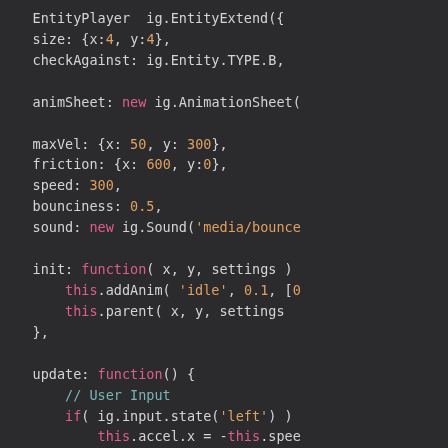[Figure (screenshot): Code editor screenshot showing JavaScript/ImpactJS game entity code with syntax highlighting on a dark background. Code shows EntityPlayer class definition with properties: size, checkAgainst, animSheet, maxVel, friction, speed, bounciness, sound, init function with addAnim and parent calls, and update function with user input handling for left/right movement using ig.input.state checks and accel.x assignments.]